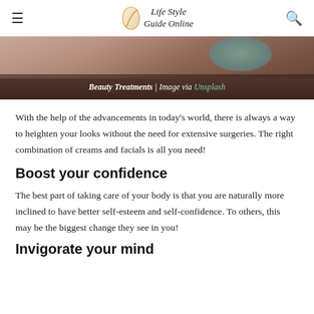Life Style Guide Online
[Figure (photo): Beauty treatment photo showing a person, with caption overlay: Beauty Treatments | Image via Unsplash]
Beauty Treatments | Image via Unsplash
With the help of the advancements in today's world, there is always a way to heighten your looks without the need for extensive surgeries. The right combination of creams and facials is all you need!
Boost your confidence
The best part of taking care of your body is that you are naturally more inclined to have better self-esteem and self-confidence. To others, this may be the biggest change they see in you!
Invigorate your mind